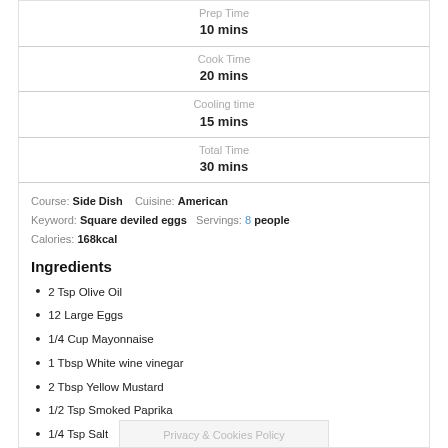Prep Time
10 mins
Cook Time
20 mins
Cooling time
15 mins
Total Time
30 mins
Course: Side Dish    Cuisine: American
Keyword: Square deviled eggs    Servings: 8 people
Calories: 168kcal
Ingredients
2 Tsp Olive Oil
12 Large Eggs
1/4 Cup Mayonnaise
1 Tbsp White wine vinegar
2 Tbsp Yellow Mustard
1/2 Tsp Smoked Paprika
1/4 Tsp Salt
Privacy & Cookies Policy